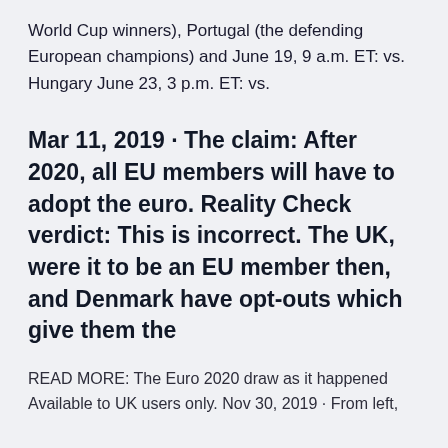World Cup winners), Portugal (the defending European champions) and June 19, 9 a.m. ET: vs. Hungary June 23, 3 p.m. ET: vs.
Mar 11, 2019 · The claim: After 2020, all EU members will have to adopt the euro. Reality Check verdict: This is incorrect. The UK, were it to be an EU member then, and Denmark have opt-outs which give them the
READ MORE: The Euro 2020 draw as it happened Available to UK users only. Nov 30, 2019 · From left,